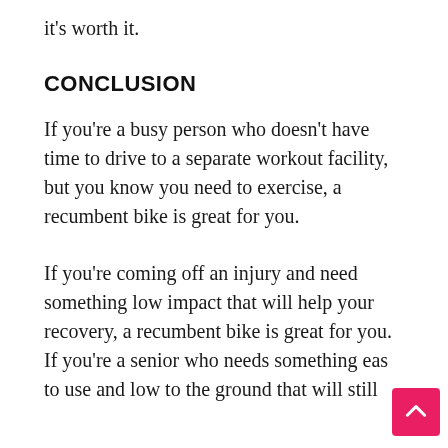it's worth it.
CONCLUSION
If you're a busy person who doesn't have time to drive to a separate workout facility, but you know you need to exercise, a recumbent bike is great for you.
If you're coming off an injury and need something low impact that will help your recovery, a recumbent bike is great for you. If you're a senior who needs something eas to use and low to the ground that will still